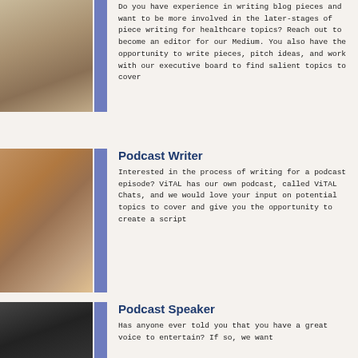[Figure (photo): Person's hand holding a pencil writing on paper, wearing a knitted sweater sleeve]
Do you have experience in writing blog pieces and want to be more involved in the later-stages of piece writing for healthcare topics? Reach out to become an editor for our Medium. You also have the opportunity to write pieces, pitch ideas, and work with our executive board to find salient topics to cover
[Figure (photo): Podcast studio setup with microphone on an arm mount, headphones on a wooden desk, brick wall background]
Podcast Writer
Interested in the process of writing for a podcast episode? ViTAL has our own podcast, called ViTAL Chats, and we would love your input on potential topics to cover and give you the opportunity to create a script
[Figure (photo): Dark blurred photo, partial view of person or phone]
Podcast Speaker
Has anyone ever told you that you have a great voice to entertain? If so, we want